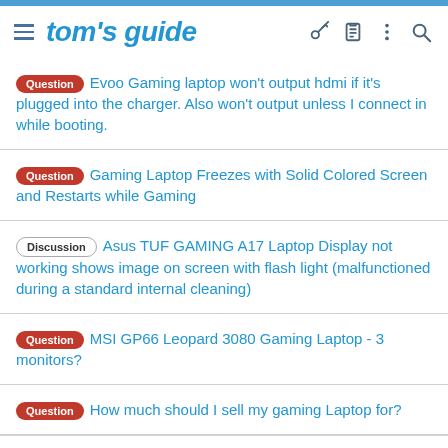tom's guide
Question — Evoo Gaming laptop won't output hdmi if it's plugged into the charger. Also won't output unless I connect in while booting.
Question — Gaming Laptop Freezes with Solid Colored Screen and Restarts while Gaming
Discussion — Asus TUF GAMING A17 Laptop Display not working shows image on screen with flash light (malfunctioned during a standard internal cleaning)
Question — MSI GP66 Leopard 3080 Gaming Laptop - 3 monitors?
Question — How much should I sell my gaming Laptop for?